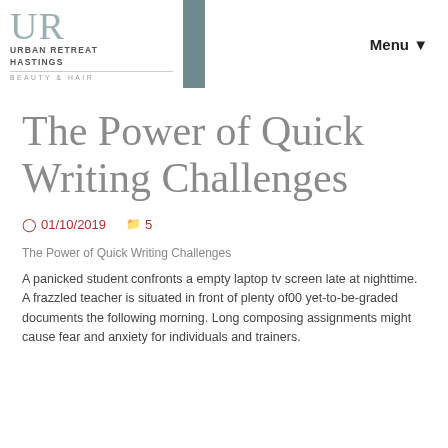[Figure (logo): Urban Retreat Hastings Beauty & Hair logo with UR monogram and teal background]
Menu
The Power of Quick Writing Challenges
01/10/2019   5
The Power of Quick Writing Challenges
A panicked student confronts a empty laptop tv screen late at nighttime. A frazzled teacher is situated in front of plenty of00 yet-to-be-graded documents the following morning. Long composing assignments might cause fear and anxiety for individuals and trainers.